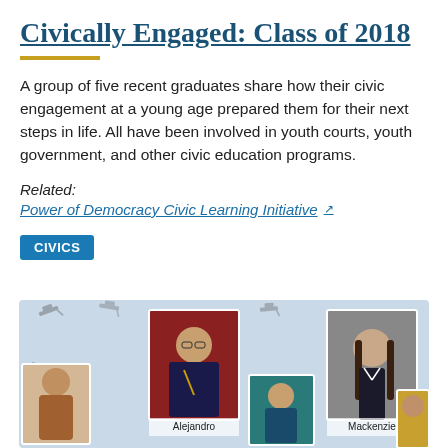Civically Engaged: Class of 2018
A group of five recent graduates share how their civic engagement at a young age prepared them for their next steps in life. All have been involved in youth courts, youth government, and other civic education programs.
Related:
Power of Democracy Civic Learning Initiative
CIVICS
[Figure (photo): Group photo collage of recent graduates including Alejandro and Mackenzie, shown against a light blue background with scattered graduation cap illustrations.]